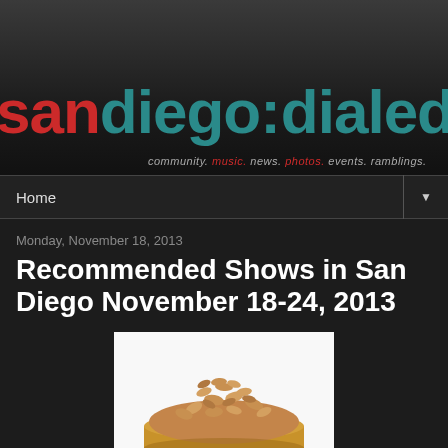san diego:dialed.in — community. music. news. photos. events. ramblings.
Home ▼
Monday, November 18, 2013
Recommended Shows in San Diego November 18-24, 2013
[Figure (photo): A gold tin filled with mixed nuts (cashews, peanuts) on a white background]